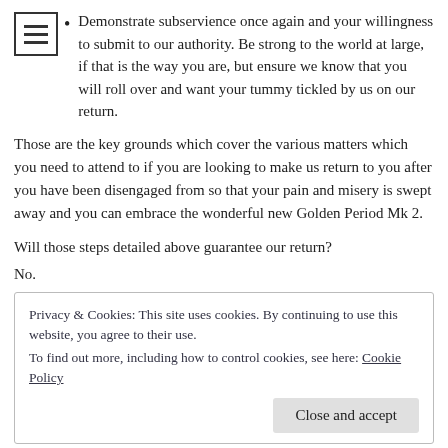Demonstrate subservience once again and your willingness to submit to our authority. Be strong to the world at large, if that is the way you are, but ensure we know that you will roll over and want your tummy tickled by us on our return.
Those are the key grounds which cover the various matters which you need to attend to if you are looking to make us return to you after you have been disengaged from so that your pain and misery is swept away and you can embrace the wonderful new Golden Period Mk 2.
Will those steps detailed above guarantee our return?
No.
Privacy & Cookies: This site uses cookies. By continuing to use this website, you agree to their use.
To find out more, including how to control cookies, see here: Cookie Policy

Close and accept